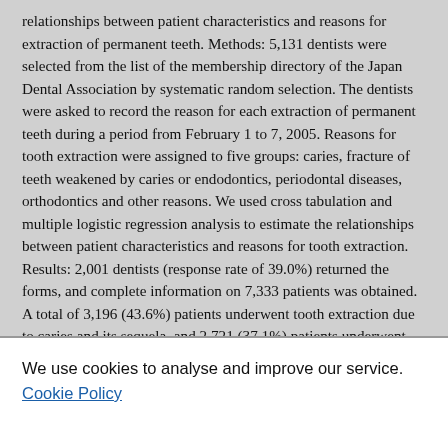relationships between patient characteristics and reasons for extraction of permanent teeth. Methods: 5,131 dentists were selected from the list of the membership directory of the Japan Dental Association by systematic random selection. The dentists were asked to record the reason for each extraction of permanent teeth during a period from February 1 to 7, 2005. Reasons for tooth extraction were assigned to five groups: caries, fracture of teeth weakened by caries or endodontics, periodontal diseases, orthodontics and other reasons. We used cross tabulation and multiple logistic regression analysis to estimate the relationships between patient characteristics and reasons for tooth extraction. Results: 2,001 dentists (response rate of 39.0%) returned the forms, and complete information on 7,333 patients was obtained. A total of 3,196 (43.6%) patients underwent tooth extraction due to caries and its sequela, and 2,721 (37.1%) patients underwent tooth extraction due to periodontal disease. Multiple logistic regression analysis
We use cookies to analyse and improve our service. Cookie Policy